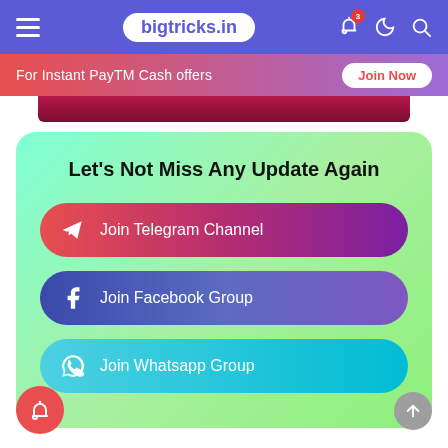bigtricks.in
For Instant PayTM Cash offers — Join Now
Let's Not Miss Any Update Again
Join Telegram Channel
Join Facebook Group
Join Whatsapp Group